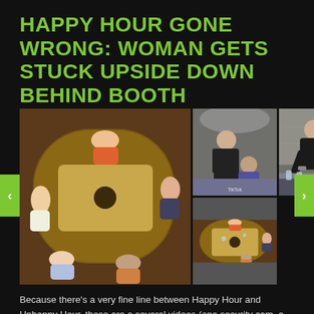HAPPY HOUR GONE WRONG: WOMAN GETS STUCK UPSIDE DOWN BEHIND BOOTH
[Figure (photo): A collage of four video stills showing a group of women dining at a restaurant booth (top-left and bottom-left from a security camera overhead view), and two images of a man in black clothing helping/pulling a woman who appears to be stuck behind/under a restaurant booth seat (center and right panels).]
Because there’s a very fine line between Happy Hour and Unhappy Hour, these are a several videos (one security cam, a couple shot by friends) of a woman getting stuck upside down behind a dining booth